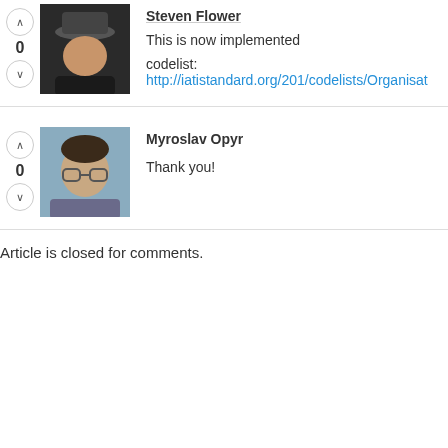Steven Flower
This is now implemented
codelist: http://iatistandard.org/201/codelists/Organisat...
Myroslav Opyr
Thank you!
Article is closed for comments.